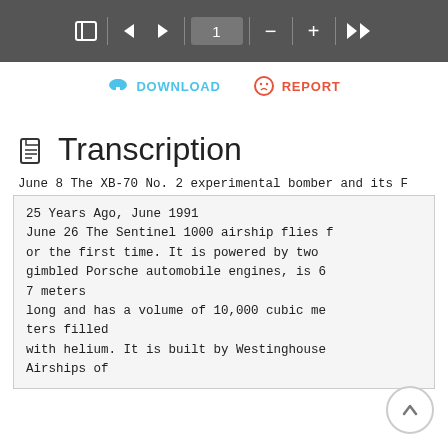[Figure (screenshot): PDF viewer toolbar with navigation controls including sidebar toggle, back/forward arrows, page number input showing '1', zoom out, zoom in, and fast-forward buttons on a dark grey background.]
DOWNLOAD   REPORT
Transcription
June 8 The XB-70 No. 2 experimental bomber and its F
25 Years Ago, June 1991
June 26 The Sentinel 1000 airship flies f
or the first time. It is powered by two
gimbled Porsche automobile engines, is 6
7 meters
long and has a volume of 10,000 cubic me
ters filled
with helium. It is built by Westinghouse
Airships of